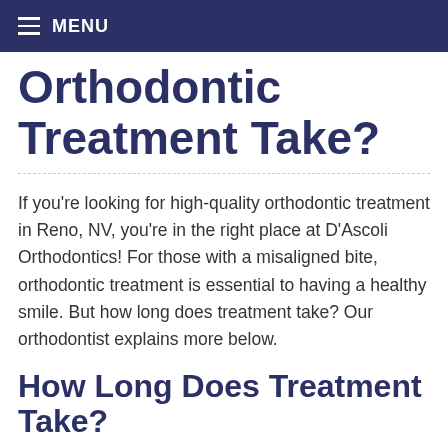MENU
Orthodontic Treatment Take?
If you’re looking for high-quality orthodontic treatment in Reno, NV, you’re in the right place at D’Ascoli Orthodontics! For those with a misaligned bite, orthodontic treatment is essential to having a healthy smile. But how long does treatment take? Our orthodontist explains more below.
How Long Does Treatment Take?